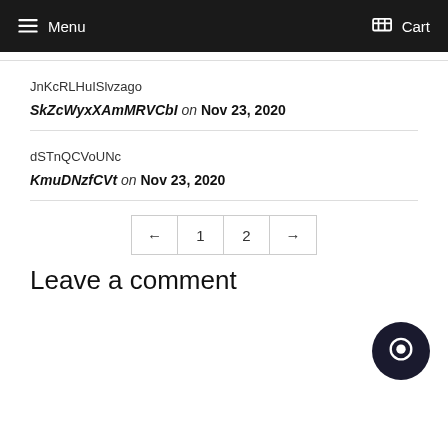Menu   Cart
JnKcRLHuISlvzago
SkZcWyxXAmMRVCbI on Nov 23, 2020
dSTnQCVoUNc
KmuDNzfCVt on Nov 23, 2020
← 1 2 →
Leave a comment